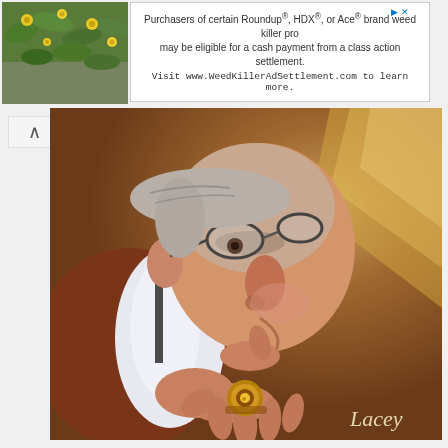[Figure (photo): Small photo of yellow flowers on green foliage, top-left corner of page]
Purchasers of certain Roundup®, HDX®, or Ace® brand weed killer products may be eligible for a cash payment from a class action settlement. Visit www.WeedKillerAdSettlement.com to learn more.
[Figure (illustration): Oil painting caricature of an elderly man with glasses, white collar, brown robe, wearing a decorative ring, hands clasped near face. Signed 'Lacey' in lower right. Brown warm tones background with light rays.]